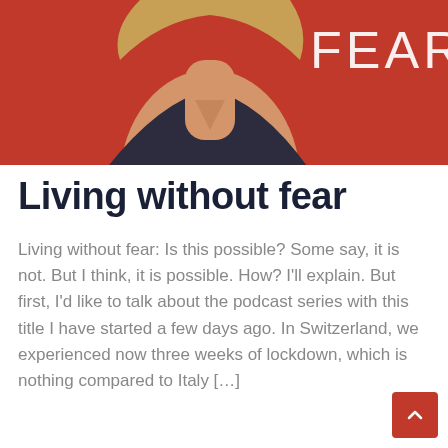[Figure (photo): Partial photo of a woman in a dark top against a red/orange background, with large text 'FEAR' visible in the upper right corner]
Living without fear
Living without fear: Is this possible? Some say, it is not. But I think, it is possible. How? I'll explain. But first, I'd like to talk about the podcast series with this title I have started a few days ago. In Switzerland, we experienced now three weeks of lockdown, which is nothing compared to Italy […]